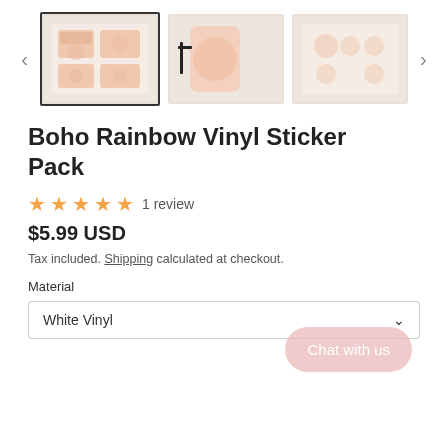[Figure (screenshot): Product thumbnail image gallery with three product photos of Boho Rainbow Vinyl Sticker Pack, with left and right navigation arrows. First thumbnail is selected with a border.]
Boho Rainbow Vinyl Sticker Pack
1 review
$5.99 USD
Tax included. Shipping calculated at checkout.
Material
White Vinyl
Chat with us